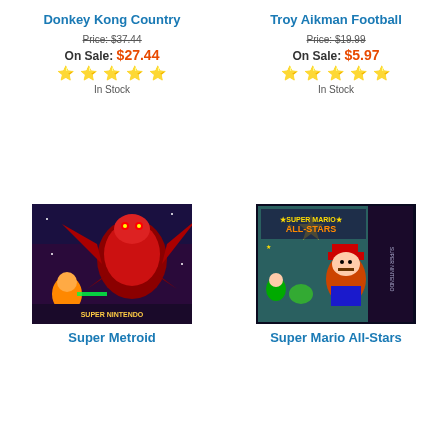Donkey Kong Country
Price: $37.44
On Sale: $27.44
★★★★★
In Stock
Troy Aikman Football
Price: $19.99
On Sale: $5.97
★★★★☆
In Stock
[Figure (photo): Super Metroid SNES game box cover art featuring a dragon/alien creature and armored character]
[Figure (photo): Super Mario All-Stars SNES game box cover art featuring Mario and various characters]
Super Metroid
Super Mario All-Stars